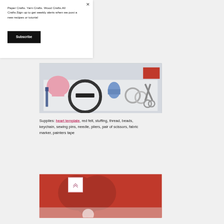Paper Crafts. Yarn Crafts. Wood Crafts.All Crafts.Sign up to get weekly alerts when we post a new recipes or tutorial
Subscribe
[Figure (photo): Craft supplies laid out on a white surface including pliers, felt hearts, an embroidery hoop, thread spool, keychain rings, and scissors]
Supplies: heart template, red felt, stuffing, thread, beads, keychain, sewing pins, needle, pliers, pair of scissors, fabric marker, painters tape
[Figure (photo): Red felt fabric with a heart shape cut out, on a white surface]